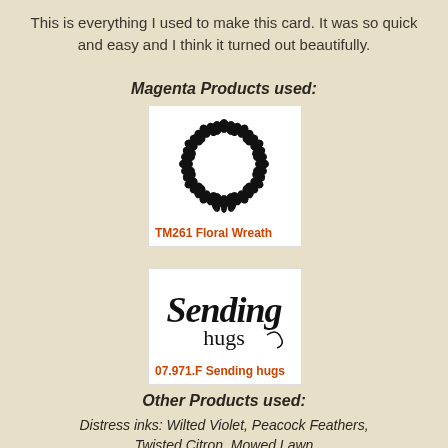This is everything I used to make this card. It was so quick and easy and I think it turned out beautifully.
Magenta Products used:
[Figure (illustration): White product card showing a circular floral wreath stamp image in black, labeled TM261 Floral Wreath in red-orange text]
[Figure (illustration): White product card showing script text 'Sending hugs' stamp image in black, labeled 07.971.F Sending hugs in red-orange text]
Other Products used:
Distress inks: Wilted Violet, Peacock Feathers, Twisted Citron, Mowed Lawn